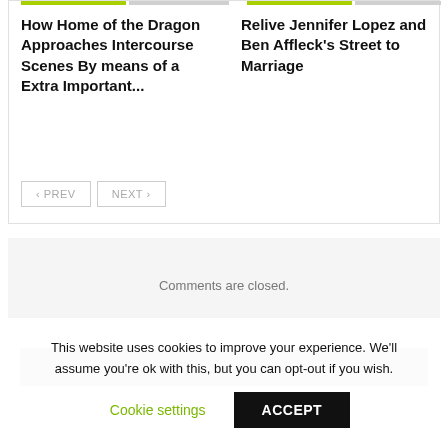How Home of the Dragon Approaches Intercourse Scenes By means of a Extra Important...
Relive Jennifer Lopez and Ben Affleck’s Street to Marriage
‹ PREV   NEXT ›
Comments are closed.
[Figure (photo): Partial image strip visible at bottom of content area]
This website uses cookies to improve your experience. We’ll assume you’re ok with this, but you can opt-out if you wish.
Cookie settings   ACCEPT